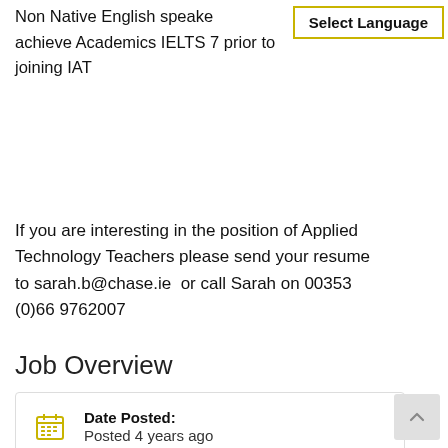Non Native English speakers achieve Academics IELTS 7 prior to joining IAT
Select Language
If you are interesting in the position of Applied Technology Teachers please send your resume to sarah.b@chase.ie  or call Sarah on 00353 (0)66 9762007
Job Overview
| Field | Value |
| --- | --- |
| Date Posted: | Posted 4 years ago |
| Job Title: |  |